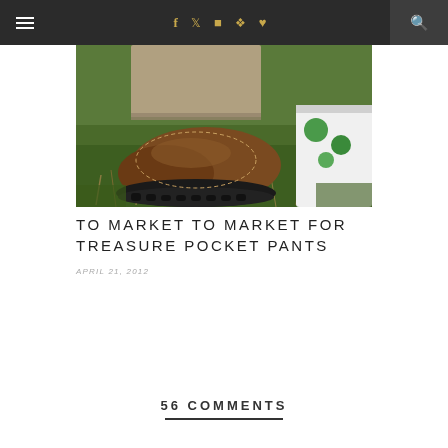Navigation bar with hamburger menu, social icons (f, Twitter, Instagram, Pinterest, Heart), and search
[Figure (photo): Close-up photo of a child's brown leather shoe on green grass, with khaki pants and a colorful bag visible]
TO MARKET TO MARKET FOR TREASURE POCKET PANTS
APRIL 21, 2012
56 COMMENTS